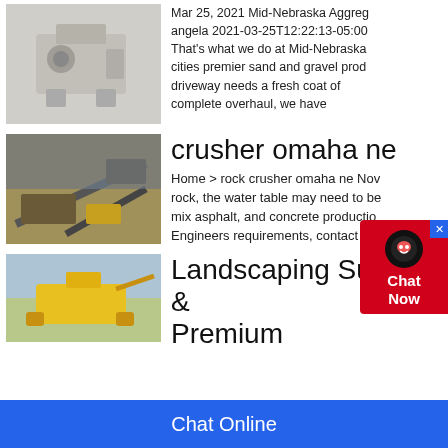[Figure (photo): Industrial crusher machine, beige/grey color]
Mar 25, 2021 Mid-Nebraska Aggreg angela 2021-03-25T12:22:13-05:00 That's what we do at Mid-Nebraska cities premier sand and gravel prod driveway needs a fresh coat of complete overhaul, we have
[Figure (photo): Outdoor rock crusher and conveyor equipment at a quarry site]
crusher omaha ne
Home > rock crusher omaha ne Nov rock, the water table may need to be mix asphalt, and concrete productio Engineers requirements, contact the
[Figure (photo): Yellow landscaping machinery/crusher outdoors]
Landscaping Supplies & Premium
Chat Online